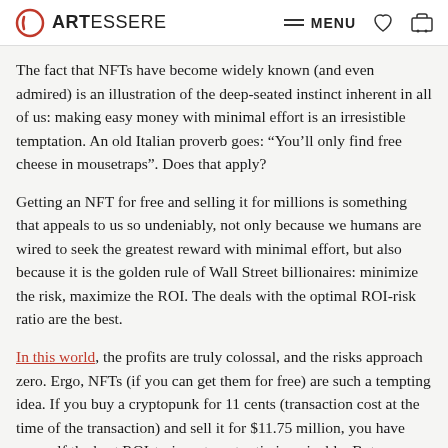ARTESSERE  MENU
The fact that NFTs have become widely known (and even admired) is an illustration of the deep-seated instinct inherent in all of us: making easy money with minimal effort is an irresistible temptation. An old Italian proverb goes: “You’ll only find free cheese in mousetraps”. Does that apply?
Getting an NFT for free and selling it for millions is something that appeals to us so undeniably, not only because we humans are wired to seek the greatest reward with minimal effort, but also because it is the golden rule of Wall Street billionaires: minimize the risk, maximize the ROI. The deals with the optimal ROI-risk ratio are the best.
In this world, the profits are truly colossal, and the risks approach zero. Ergo, NFTs (if you can get them for free) are such a tempting idea. If you buy a cryptopunk for 11 cents (transaction cost at the time of the transaction) and sell it for $11.75 million, you have yourself the best ROI-to-investment ratio imaginable. But are there really no risks?